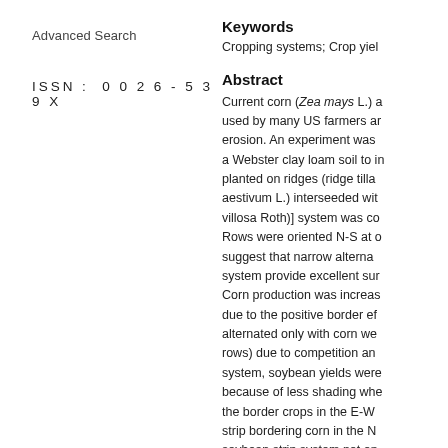Advanced Search
ISSN: 0026-539X
Keywords
Cropping systems; Crop yiel
Abstract
Current corn (Zea mays L.) a used by many US farmers ar erosion. An experiment was a Webster clay loam soil to in planted on ridges (ridge tilla aestivum L.) interseeded wit villosa Roth)] system was co Rows were oriented N-S at o suggest that narrow alterna system provide excellent sur Corn production was increas due to the positive border ef alternated only with corn we rows) due to competition an system, soybean yields were because of less shading whe the border crops in the E-W strip bordering corn in the N soybean strip system not on interseeding of legumes. In t